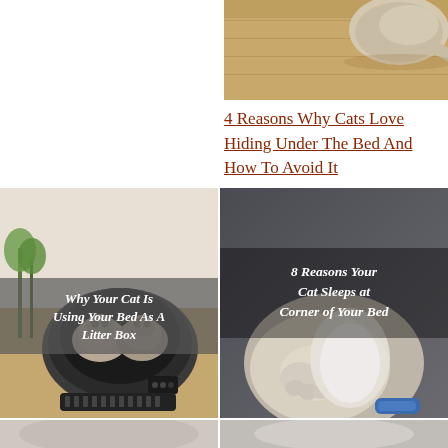[Figure (photo): Cat on wooden floor, viewed from above, partially cropped at top]
4 Reasons Why Cats Love Hiding Under The Bed And How To Avoid It
[Figure (photo): Two cats sitting inside a round automatic litter box, with white overlay text: Why Your Cat Is Using Your Bed As A Litter Box]
[Figure (photo): Close-up of cat paw/fur at corner of bed, with white overlay text: 8 Reasons Your Cat Sleeps at Corner of Your Bed]
[Figure (photo): Partial bottom of litter box image, cropped]
[Figure (photo): Partial bottom of cat paw image, cropped]